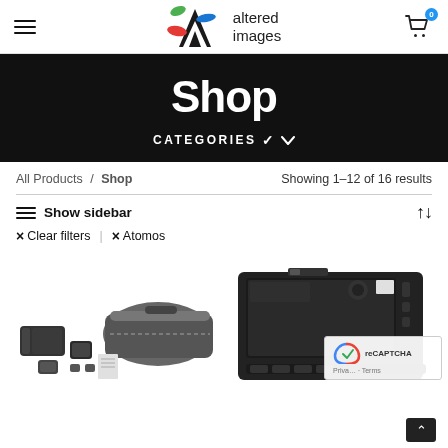Altered Images shop page header with navigation, logo, and cart icon
Shop
CATEGORIES
All Products / Shop
Showing 1–12 of 16 results
Show sidebar
× Clear filters
× Atomos
[Figure (photo): Product photo showing camera accessories including batteries, charger, and hard case]
[Figure (photo): Product photo showing a portable monitor/recorder device with ports and screen]